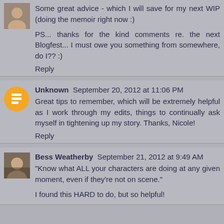Some great advice - which I will save for my next WIP (doing the memoir right now :)
PS... thanks for the kind comments re. the next Blogfest... I must owe you something from somewhere, do I?? :)
Reply
Unknown  September 20, 2012 at 11:06 PM
Great tips to remember, which will be extremely helpful as I work through my edits, things to continually ask myself in tightening up my story. Thanks, Nicole!
Reply
Bess Weatherby  September 21, 2012 at 9:49 AM
"Know what ALL your characters are doing at any given moment, even if they're not on scene."
I found this HARD to do, but so helpful!